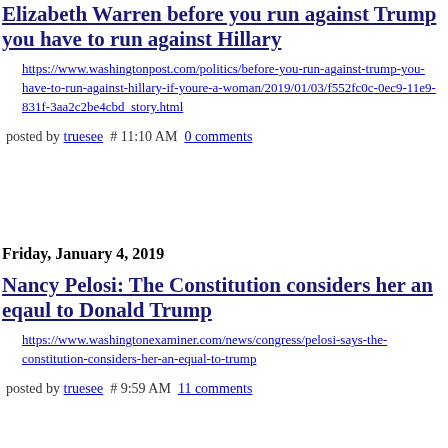Elizabeth Warren before you run against Trump you have to run against Hillary
https://www.washingtonpost.com/politics/before-you-run-against-trump-you-have-to-run-against-hillary-if-youre-a-woman/2019/01/03/f552fc0c-0ec9-11e9-831f-3aa2c2be4cbd_story.html
posted by truesee # 11:10 AM 0 comments
Friday, January 4, 2019
Nancy Pelosi: The Constitution considers her an eqaul to Donald Trump
https://www.washingtonexaminer.com/news/congress/pelosi-says-the-constitution-considers-her-an-equal-to-trump
posted by truesee # 9:59 AM 11 comments